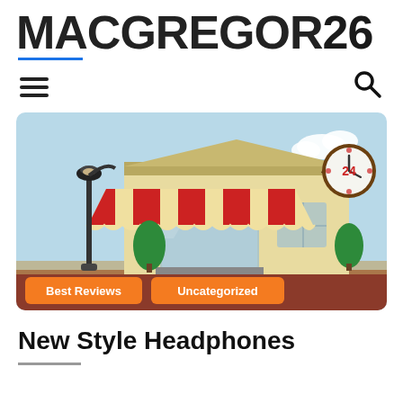MACGREGOR26
[Figure (illustration): Illustration of a retail storefront with red and white striped awning, street lamp, green trees, and a 24-hour clock sign. Two orange category tag buttons overlay the bottom: 'Best Reviews' and 'Uncategorized'.]
New Style Headphones